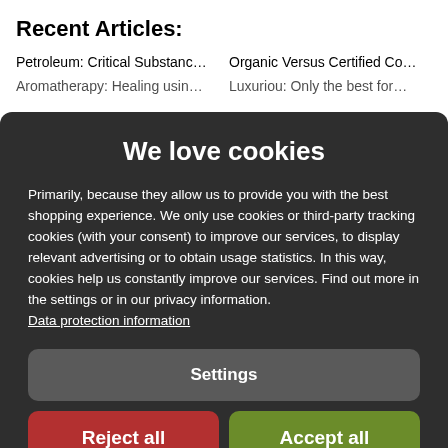Recent Articles:
Petroleum: Critical Substanc...
Organic Versus Certified Co...
Aromatherapy: Healing usin...
Luxuriou: Only the best for...
We love cookies
Primarily, because they allow us to provide you with the best shopping experience. We only use cookies or third-party tracking cookies (with your consent) to improve our services, to display relevant advertising or to obtain usage statistics. In this way, cookies help us constantly improve our services. Find out more in the settings or in our privacy information.
Data protection information
Settings
Reject all
Accept all